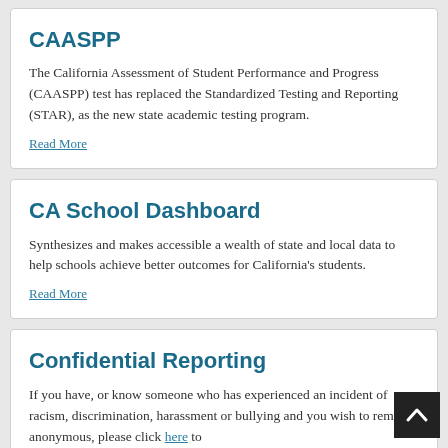CAASPP
The California Assessment of Student Performance and Progress (CAASPP) test has replaced the Standardized Testing and Reporting (STAR), as the new state academic testing program.
Read More
CA School Dashboard
Synthesizes and makes accessible a wealth of state and local data to help schools achieve better outcomes for California’s students.
Read More
Confidential Reporting
If you have, or know someone who has experienced an incident of racism, discrimination, harassment or bullying and you wish to remain anonymous, please click here to